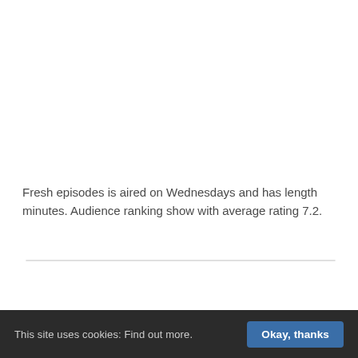Fresh episodes is aired on Wednesdays and has length minutes. Audience ranking show with average rating 7.2.
Contents:
1. The Plot
This site uses cookies: Find out more.